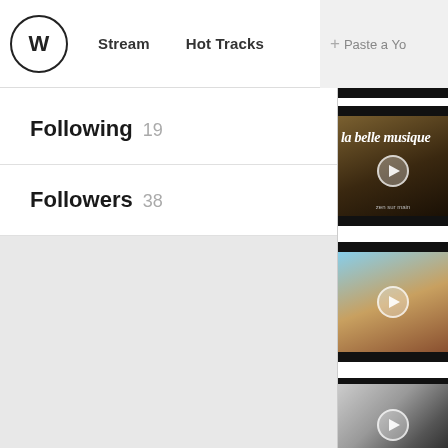W | Stream | Hot Tracks | + Paste a Yo
Following  19
Followers  38
[Figure (screenshot): Video thumbnail: dark background with text 'la belle musique' and play button]
[Figure (screenshot): Video thumbnail: beach scene with person walking, play button]
[Figure (screenshot): Video thumbnail: black and white scene with play button, partially visible]